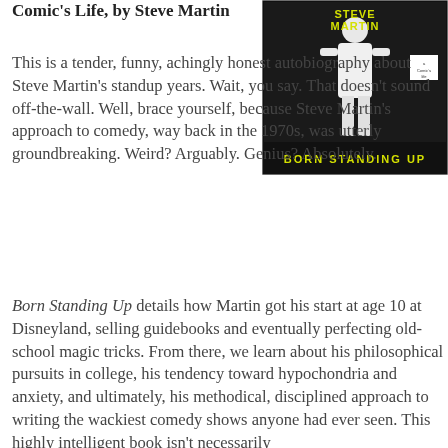Comic's Life, by Steve Martin
[Figure (photo): Book cover of 'Born Standing Up' by Steve Martin. Black and white photo of Steve Martin in white suit performing on stage. Yellow text at bottom reads 'BORN STANDING UP'. Author name 'STEVE MARTIN' in yellow at top.]
This is a tender, funny, achingly honest autobiography about Steve Martin's standup years. Wait, you say. That doesn't sound off-the-wall. Well, brace yourself, because Steve Martin's approach to comedy, way back in the 1970s, was utterly groundbreaking. Weird? Arguably. Genius? Absolutely.
Born Standing Up details how Martin got his start at age 10 at Disneyland, selling guidebooks and eventually perfecting old-school magic tricks. From there, we learn about his philosophical pursuits in college, his tendency toward hypochondria and anxiety, and ultimately, his methodical, disciplined approach to writing the wackiest comedy shows anyone had ever seen. This highly intelligent book isn't necessarily